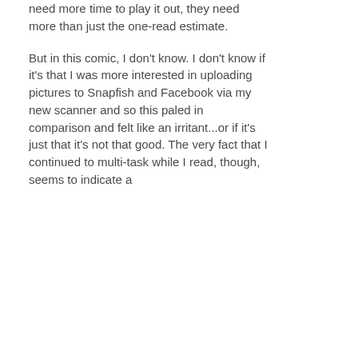need more time to play it out, they need more than just the one-read estimate.
But in this comic, I don't know. I don't know if it's that I was more interested in uploading pictures to Snapfish and Facebook via my new scanner and so this paled in comparison and felt like an irritant...or if it's just that it's not that good. The very fact that I continued to multi-task while I read, though, seems to indicate a